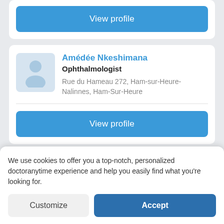[Figure (screenshot): View profile button at the top of a card (partially visible)]
Amédée Nkeshimana
Ophthalmologist
Rue du Hameau 272, Ham-sur-Heure-Nalinnes, Ham-Sur-Heure
View profile
Hyacinthe Elomo Tomo
Ophthalmologist
We use cookies to offer you a top-notch, personalized doctoranytime experience and help you easily find what you're looking for.
Customize
Accept